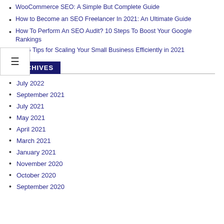WooCommerce SEO: A Simple But Complete Guide
How to Become an SEO Freelancer In 2021: An Ultimate Guide
How To Perform An SEO Audit? 10 Steps To Boost Your Google Rankings
Top 5 Tips for Scaling Your Small Business Efficiently in 2021
ARCHIVES
July 2022
September 2021
July 2021
May 2021
April 2021
March 2021
January 2021
November 2020
October 2020
September 2020